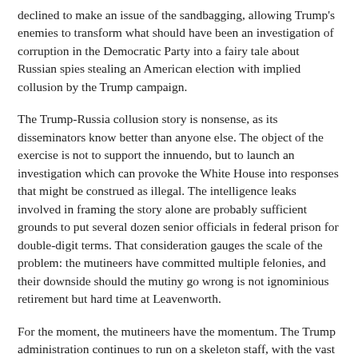declined to make an issue of the sandbagging, allowing Trump's enemies to transform what should have been an investigation of corruption in the Democratic Party into a fairy tale about Russian spies stealing an American election with implied collusion by the Trump campaign.
The Trump-Russia collusion story is nonsense, as its disseminators know better than anyone else. The object of the exercise is not to support the innuendo, but to launch an investigation which can provoke the White House into responses that might be construed as illegal. The intelligence leaks involved in framing the story alone are probably sufficient grounds to put several dozen senior officials in federal prison for double-digit terms. That consideration gauges the scale of the problem: the mutineers have committed multiple felonies, and their downside should the mutiny go wrong is not ignominious retirement but hard time at Leavenworth.
For the moment, the mutineers have the momentum. The Trump administration continues to run on a skeleton staff, with the vast majority of key positions still unoccupied. If my